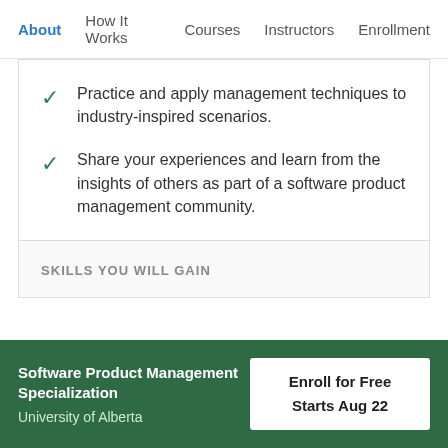About  How It Works  Courses  Instructors  Enrollment
Practice and apply management techniques to industry-inspired scenarios.
Share your experiences and learn from the insights of others as part of a software product management community.
SKILLS YOU WILL GAIN
Software Product Management Specialization
University of Alberta
Enroll for Free
Starts Aug 22